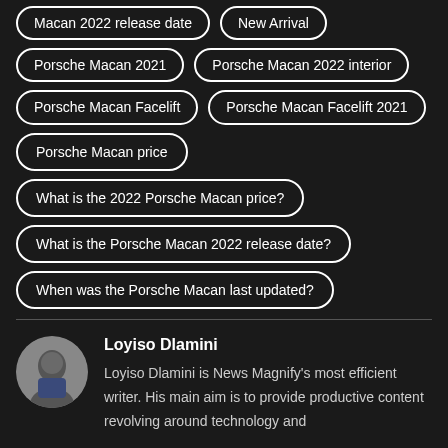Macan 2022 release date
New Arrival
Porsche Macan 2021
Porsche Macan 2022 interior
Porsche Macan Facelift
Porsche Macan Facelift 2021
Porsche Macan price
What is the 2022 Porsche Macan price?
What is the Porsche Macan 2022 release date?
When was the Porsche Macan last updated?
Loyiso Dlamini
Loyiso Dlamini is News Magnify's most efficient writer. His main aim is to provide productive content revolving around technology and